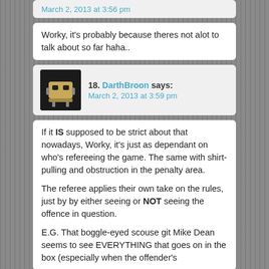March 2, 2013 at 3:56 pm
Worky, it's probably because theres not alot to talk about so far haha..
18. DarthBroon says:
March 2, 2013 at 3:59 pm
If it IS supposed to be strict about that nowadays, Worky, it's just as dependant on who's refereeing the game. The same with shirt-pulling and obstruction in the penalty area.

The referee applies their own take on the rules, just by by either seeing or NOT seeing the offence in question.

E.G. That boggle-eyed scouse git Mike Dean seems to see EVERYTHING that goes on in the box (especially when the offender's